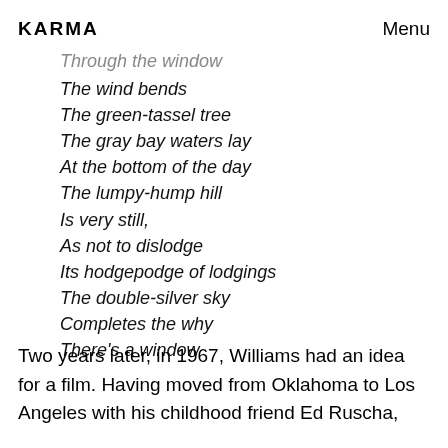KARMA    Menu
Through the window
The wind bends
The green-tassel tree
The gray bay waters lay
At the bottom of the day
The lumpy-hump hill
Is very still,
As not to dislodge
Its hodgepodge of lodgings
The double-silver sky
Completes the why
There’s a window
Two years later, in 1967, Williams had an idea for a film. Having moved from Oklahoma to Los Angeles with his childhood friend Ed Ruscha,